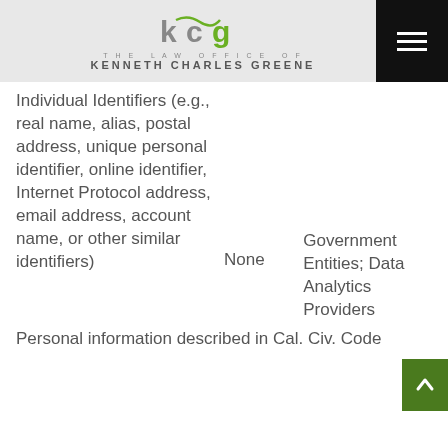THE LAW OFFICE OF KENNETH CHARLES GREENE
Individual Identifiers (e.g., real name, alias, postal address, unique personal identifier, online identifier, Internet Protocol address, email address, account name, or other similar identifiers)
None
Government Entities; Data Analytics Providers
Personal information described in Cal. Civ. Code